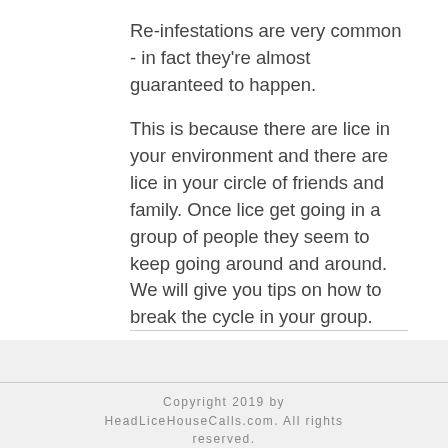Re-infestations are very common - in fact they're almost guaranteed to happen.
This is because there are lice in your environment and there are lice in your circle of friends and family. Once lice get going in a group of people they seem to keep going around and around. We will give you tips on how to break the cycle in your group.
Copyright 2019 by HeadLiceHouseCalls.com. All rights reserved.